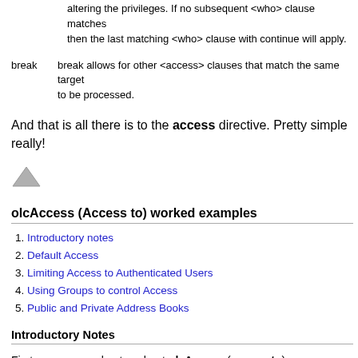altering the privileges. If no subsequent <who> clause matches then the last matching <who> clause with continue will apply.
break    break allows for other <access> clauses that match the same target to be processed.
And that is all there is to the access directive. Pretty simple really!
[Figure (illustration): Small grey upward-pointing triangle/arrow icon]
olcAccess (Access to) worked examples
1. Introductory notes
2. Default Access
3. Limiting Access to Authenticated Users
4. Using Groups to control Access
5. Public and Private Address Books
Introductory Notes
First some general notes about olcAccess (access to) attributes/directives: